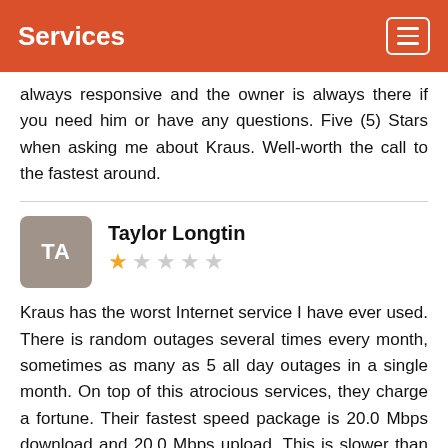Services
always responsive and the owner is always there if you need him or have any questions. Five (5) Stars when asking me about Kraus. Well-worth the call to the fastest around.
Taylor Longtin — 1 star review
Kraus has the worst Internet service I have ever used. There is random outages several times every month, sometimes as many as 5 all day outages in a single month. On top of this atrocious services, they charge a fortune. Their fastest speed package is 20.0 Mbps download and 20.0 Mbps upload. This is slower than Comcasts (and many other IPSs) slowest package, yet it costs $75.18/mo - this is more expensive than other notable IPSs 75-100 Mbps